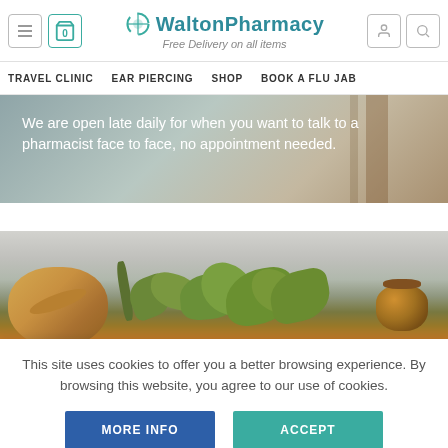[Figure (screenshot): Walton Pharmacy website header with logo, cart icon (0), hamburger menu, user icon, and search icon. Tagline: Free Delivery on all items.]
TRAVEL CLINIC   EAR PIERCING   SHOP   BOOK A FLU JAB
[Figure (photo): Hero banner with blurred pharmacy interior background and text: We are open late daily for when you want to talk to a pharmacist face to face, no appointment needed.]
We are open late daily for when you want to talk to a pharmacist face to face, no appointment needed.
[Figure (photo): Photo of a mortar and pestle with green herb leaves and an amber glass jar on a light grey surface.]
This site uses cookies to offer you a better browsing experience. By browsing this website, you agree to our use of cookies.